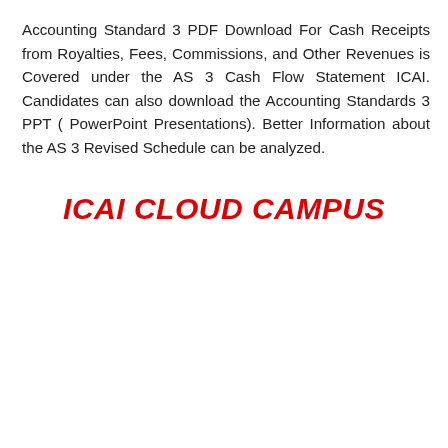Accounting Standard 3 PDF Download For Cash Receipts from Royalties, Fees, Commissions, and Other Revenues is Covered under the AS 3 Cash Flow Statement ICAI. Candidates can also download the Accounting Standards 3 PPT ( PowerPoint Presentations). Better Information about the AS 3 Revised Schedule can be analyzed.
ICAI CLOUD CAMPUS